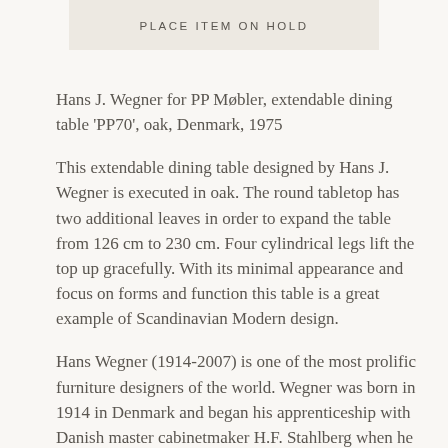PLACE ITEM ON HOLD
Hans J. Wegner for PP Møbler, extendable dining table 'PP70', oak, Denmark, 1975
This extendable dining table designed by Hans J. Wegner is executed in oak. The round tabletop has two additional leaves in order to expand the table from 126 cm to 230 cm. Four cylindrical legs lift the top up gracefully. With its minimal appearance and focus on forms and function this table is a great example of Scandinavian Modern design.
Hans Wegner (1914-2007) is one of the most prolific furniture designers of the world. Wegner was born in 1914 in Denmark and began his apprenticeship with Danish master cabinetmaker H.F. Stahlberg when he was 14 years old. Afterwards, he moved to Copenhagen and attended the School of Arts and Crafts between 1936 and